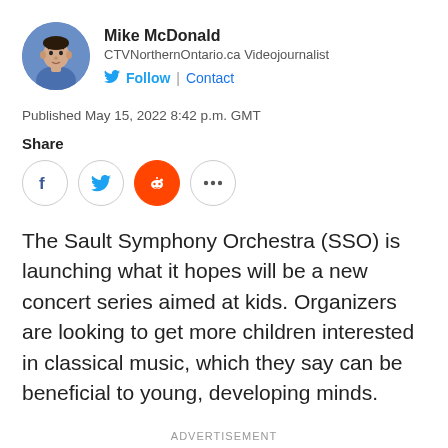[Figure (photo): Headshot photo of Mike McDonald, a man in a blue shirt]
Mike McDonald
CTVNorthernOntario.ca Videojournalist
Follow | Contact
Published May 15, 2022 8:42 p.m. GMT
Share
[Figure (infographic): Social share buttons: Facebook, Twitter, Reddit, More (ellipsis)]
The Sault Symphony Orchestra (SSO) is launching what it hopes will be a new concert series aimed at kids. Organizers are looking to get more children interested in classical music, which they say can be beneficial to young, developing minds.
ADVERTISEMENT